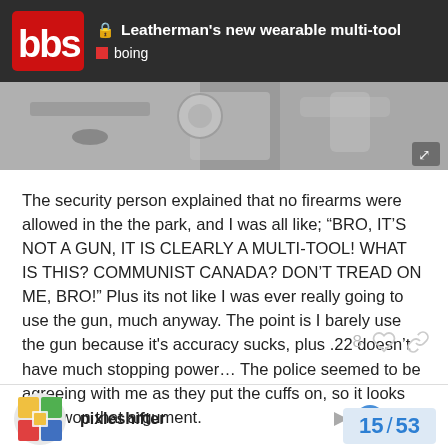🔒 Leatherman's new wearable multi-tool | boing
[Figure (photo): Partial photo of metal multi-tool components against a gray background, with an expand/fullscreen icon in the bottom right corner.]
The security person explained that no firearms were allowed in the the park, and I was all like; “BRO, IT’S NOT A GUN, IT IS CLEARLY A MULTI-TOOL! WHAT IS THIS? COMMUNIST CANADA? DON’T TREAD ON ME, BRO!” Plus its not like I was ever really going to use the gun, much anyway. The point is I barely use the gun because it's accuracy sucks, plus .22 doesn’t have much stopping power… The police seemed to be agreeing with me as they put the cuffs on, so it looks like I won that argument.
8 ♡ 🔗
pixleshifter
Jan '15
15 / 53